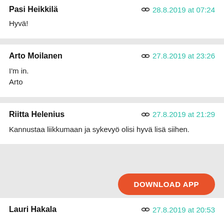Pasi Heikkilä — 28.8.2019 at 07:24
Hyvä!
Arto Moilanen — 27.8.2019 at 23:26
I'm in.
Arto
Riitta Helenius — 27.8.2019 at 21:29
Kannustaa liikkumaan ja sykevyö olisi hyvä lisä siihen.
DOWNLOAD APP
Lauri Hakala — 27.8.2019 at 20:53